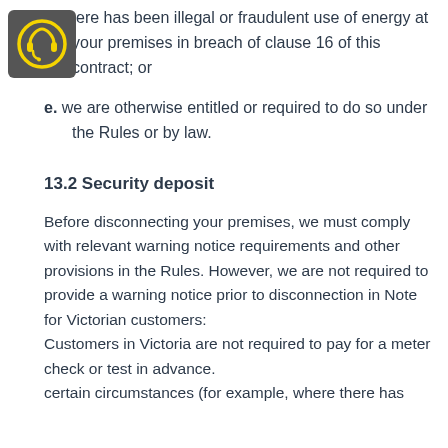[Figure (logo): Headset/customer service icon in a dark grey rounded square badge]
d. there has been illegal or fraudulent use of energy at your premises in breach of clause 16 of this contract; or
e. we are otherwise entitled or required to do so under the Rules or by law.
13.2 Security deposit
Before disconnecting your premises, we must comply with relevant warning notice requirements and other provisions in the Rules. However, we are not required to provide a warning notice prior to disconnection in Note for Victorian customers:
Customers in Victoria are not required to pay for a meter check or test in advance.
certain circumstances (for example, where there has